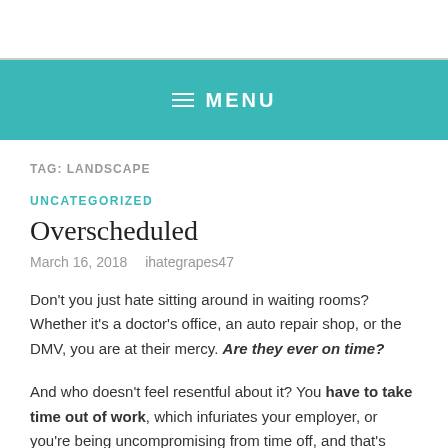MENU
TAG: LANDSCAPE
UNCATEGORIZED
Overscheduled
March 16, 2018   ihategrapes47
Don't you just hate sitting around in waiting rooms? Whether it's a doctor's office, an auto repair shop, or the DMV, you are at their mercy. Are they ever on time?
And who doesn't feel resentful about it? You have to take time out of work, which infuriates your employer, or you're being uncompromising from time off, and that's...